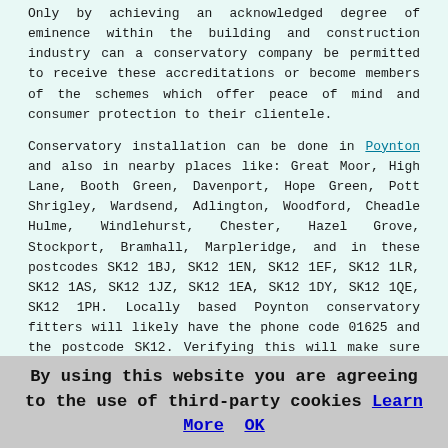Only by achieving an acknowledged degree of eminence within the building and construction industry can a conservatory company be permitted to receive these accreditations or become members of the schemes which offer peace of mind and consumer protection to their clientele.
Conservatory installation can be done in Poynton and also in nearby places like: Great Moor, High Lane, Booth Green, Davenport, Hope Green, Pott Shrigley, Wardsend, Adlington, Woodford, Cheadle Hulme, Windlehurst, Chester, Hazel Grove, Stockport, Bramhall, Marpleridge, and in these postcodes SK12 1BJ, SK12 1EN, SK12 1EF, SK12 1LR, SK12 1AS, SK12 1JZ, SK12 1EA, SK12 1DY, SK12 1QE, SK12 1PH. Locally based Poynton conservatory fitters will likely have the phone code 01625 and the postcode SK12. Verifying this will make sure that you access locally based providers of conservatories. Poynton property owners can benefit from these and lots of other comparable services.
Lean-To Conservatories Poynton
Lean-to conservatories are suitable for any sort of property in Poynton. They can blend flawlessly with modern or older properties, and a Mediterranean or lean-to
By using this website you are agreeing to the use of third-party cookies Learn More OK